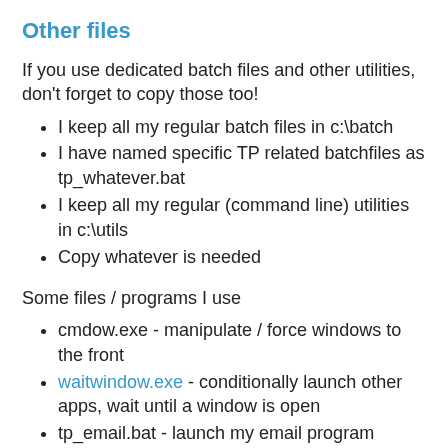Other files
If you use dedicated batch files and other utilities, don't forget to copy those too!
I keep all my regular batch files in c:\batch
I have named specific TP related batchfiles as tp_whatever.bat
I keep all my regular (command line) utilities in c:\utils
Copy whatever is needed
Some files / programs I use
cmdow.exe - manipulate / force windows to the front
waitwindow.exe - conditionally launch other apps, wait until a window is open
tp_email.bat - launch my email program
tp_music.bat - play music (using SqueezeLite-X)
tp_netflix.bat - start netflix